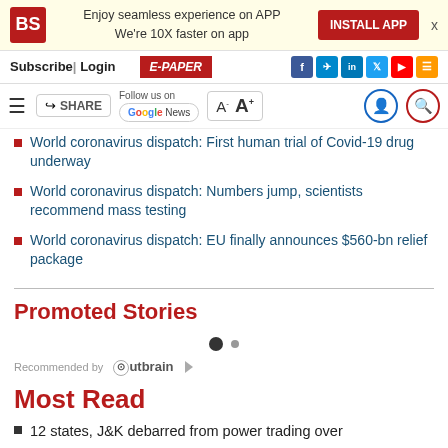Enjoy seamless experience on APP We're 10X faster on app | INSTALL APP
Subscribe | Login | E-PAPER
World coronavirus dispatch: First human trial of Covid-19 drug underway
World coronavirus dispatch: Numbers jump, scientists recommend mass testing
World coronavirus dispatch: EU finally announces $560-bn relief package
Promoted Stories
Recommended by Outbrain
Most Read
12 states, J&K debarred from power trading over